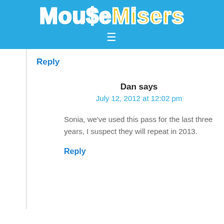[Figure (logo): MouseMisers logo on blue background with hamburger menu icon]
Reply
Dan says
July 12, 2012 at 12:02 pm
Sonia, we've used this pass for the last three years, I suspect they will repeat in 2013.
Reply